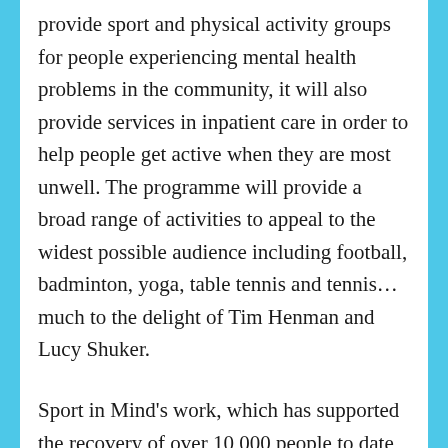Sport in Mind's new £1.8 million project will not only provide sport and physical activity groups for people experiencing mental health problems in the community, it will also provide services in inpatient care in order to help people get active when they are most unwell. The programme will provide a broad range of activities to appeal to the widest possible audience including football, badminton, yoga, table tennis and tennis… much to the delight of Tim Henman and Lucy Shuker.
Sport in Mind's work, which has supported the recovery of over 10,000 people to date, has recently been honoured with the Queen's Award for Voluntary Services, the highest award a charity can receive.
Sport in Mind's Founder Neil Harris says: "Sport in Mind are very pleased and honoured to be joined by